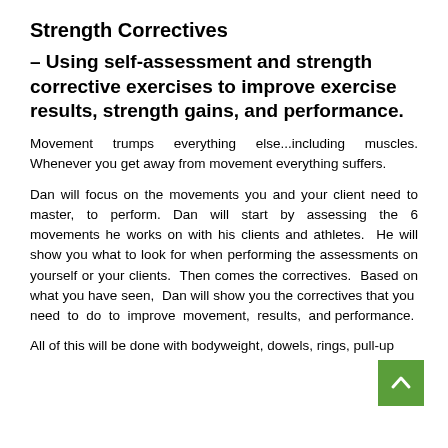Strength Correctives
– Using self-assessment and strength corrective exercises to improve exercise results, strength gains, and performance.
Movement trumps everything else...including muscles. Whenever you get away from movement everything suffers.
Dan will focus on the movements you and your client need to master, to perform. Dan will start by assessing the 6 movements he works on with his clients and athletes. He will show you what to look for when performing the assessments on yourself or your clients. Then comes the correctives. Based on what you have seen, Dan will show you the correctives that you need to do to improve movement, results, and performance.
All of this will be done with bodyweight, dowels, rings, pull-up bars, a stretching belt, bands, balls, and other things along the way.